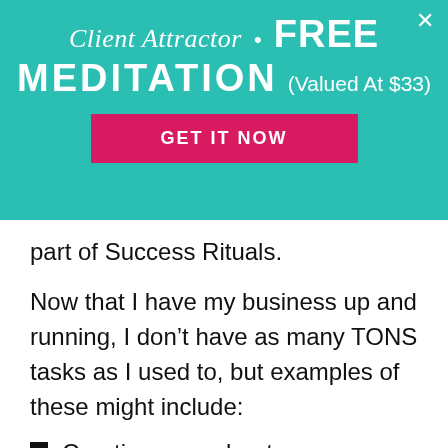[Figure (screenshot): Promotional banner with teal background showing 'Client Attractor • FREE MEDITATION (Valued At $33)' with a pink 'GET IT NOW' button and a close X in top right corner.]
part of Success Rituals.
Now that I have my business up and running, I don't have as many TONS tasks as I used to, but examples of these might include:
Creating your about me page on your website
Setting up social media accounts